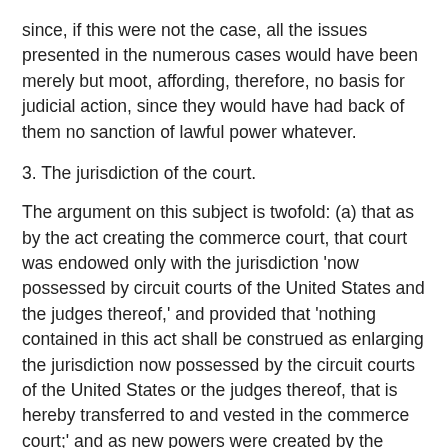since, if this were not the case, all the issues presented in the numerous cases would have been merely but moot, affording, therefore, no basis for judicial action, since they would have had back of them no sanction of lawful power whatever.
3. The jurisdiction of the court.
The argument on this subject is twofold: (a) that as by the act creating the commerce court, that court was endowed only with the jurisdiction 'now possessed by circuit courts of the United States and the judges thereof,' and provided that 'nothing contained in this act shall be construed as enlarging the jurisdiction now possessed by the circuit courts of the United States or the judges thereof, that is hereby transferred to and vested in the commerce court;' and as new powers were created by the subsequent amendment of the 4th section, therefore the commerce court had no jurisdiction.